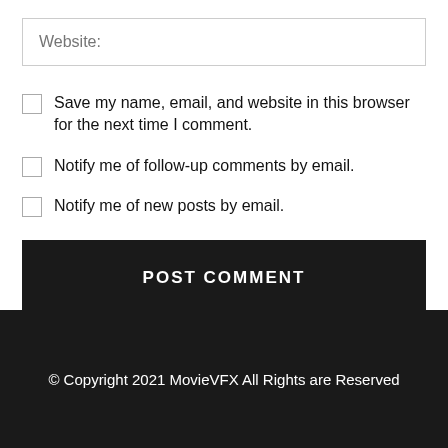Website:
Save my name, email, and website in this browser for the next time I comment.
Notify me of follow-up comments by email.
Notify me of new posts by email.
POST COMMENT
© Copyright 2021 MovieVFX All Rights are Reserved